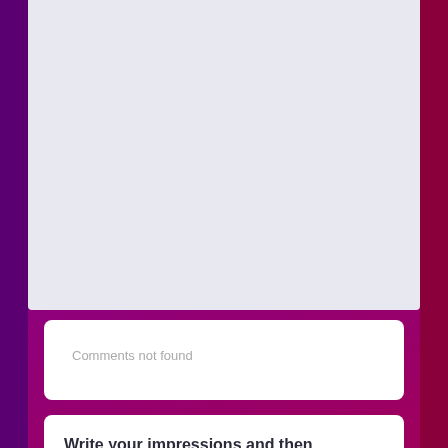Comments not found
Write your impressions and then download all files